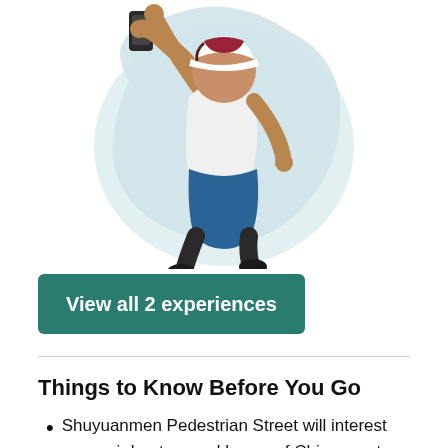[Figure (illustration): A person jumping and taking a selfie with a smartphone, wearing a white t-shirt, red and white cap, blue shorts, dark shoes, with a light blue blob/cloud shape in the background.]
View all 2 experiences
Things to Know Before You Go
Shuyuanmen Pedestrian Street will interest souvenir hunters and lovers of Chinese arts and